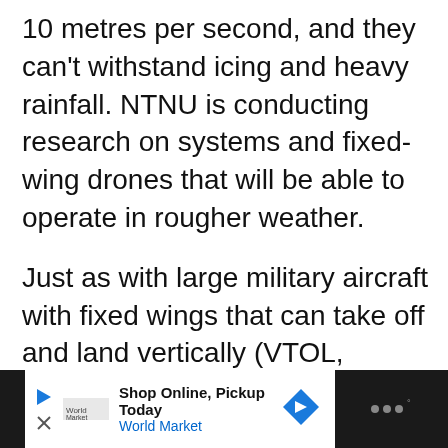10 metres per second, and they can't withstand icing and heavy rainfall. NTNU is conducting research on systems and fixed-wing drones that will be able to operate in rougher weather.
Just as with large military aircraft with fixed wings that can take off and land vertically (VTOL, vertical take-off and landing), some autonomous drones can do the same. The disadvantage is that these drones have a shorter range and are more complex.
[Figure (other): Advertisement banner at the bottom: 'Shop Online, Pickup Today — World Market' with play and close buttons, a navigation/map icon, and a dark panel on the right with dots icon.]